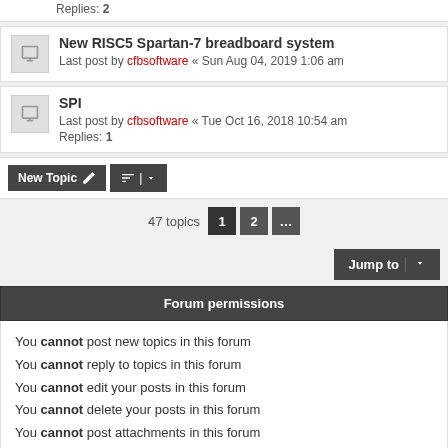Replies: 2
New RISC5 Spartan-7 breadboard system
Last post by cfbsoftware « Sun Aug 04, 2019 1:06 am
SPI
Last post by cfbsoftware « Tue Oct 16, 2018 10:54 am
Replies: 1
47 topics  1  2  ...
Forum permissions
You cannot post new topics in this forum
You cannot reply to topics in this forum
You cannot edit your posts in this forum
You cannot delete your posts in this forum
You cannot post attachments in this forum
Delete cookies  All times are UTC
Powered by phpBB® Forum Software © phpBB Limited
Style proflat by © Mazeltof 2017
Privacy | Terms